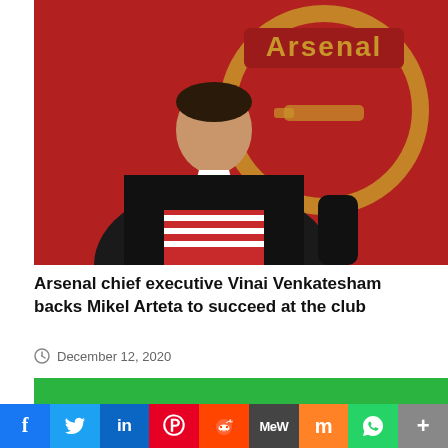[Figure (photo): Mikel Arteta holding an Arsenal jersey in front of the Arsenal logo on a red background, at his unveiling as Arsenal manager]
Arsenal chief executive Vinai Venkatesham backs Mikel Arteta to succeed at the club
December 12, 2020
[Figure (other): Green horizontal bar (social share / advertisement bar)]
Facebook